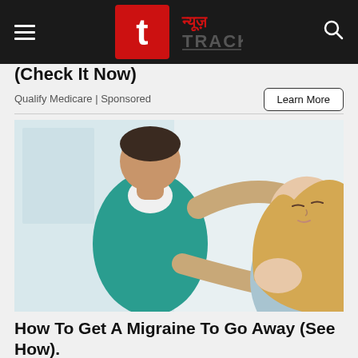न्यूज़ TRACK — navigation bar with hamburger menu and search icon
(Check It Now)
Qualify Medicare | Sponsored
Learn More
[Figure (photo): A medical professional in a teal/green scrub top performing a neck/shoulder manipulation on a female patient with shoulder-length blonde hair, who has her eyes closed and head tilted back. Clinical setting with light background.]
How To Get A Migraine To Go Away (See How).